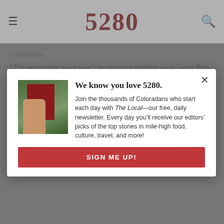5280
conditions.
“The organizing wave won’t be stopping anytime soon,” says Pete DeMay, the organizing director of Workers United midwest and mountain west region. Indeed, several other Starbucks in Denver, including the one on Columbine Street in Cherry Creek, have voted to become part of the same union in the coming weeks. “I think it’s become a national phenomenon now,” DeMay says, “of Starbucks workers wanting to join our union.”
(Read more: Why Ski Patrollers at Keystone and Breckenridge Considered Unionizing)
[Figure (screenshot): Newsletter signup modal overlay for 5280 magazine. Shows a hand holding the magazine, headline 'We know you love 5280.', body text about The Local newsletter, and a red SIGN ME UP! button.]
We know you love 5280.
Join the thousands of Coloradans who start each day with The Local—our free, daily newsletter. Every day you’ll receive our editors’ picks of the top stories in mile-high food, culture, travel, and more!
SIGN ME UP!